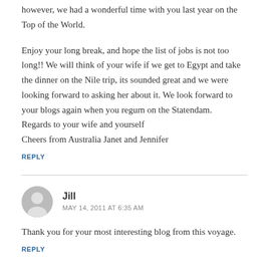however, we had a wonderful time with you last year on the Top of the World.
Enjoy your long break, and hope the list of jobs is not too long!! We will think of your wife if we get to Egypt and take the dinner on the Nile trip, its sounded great and we were looking forward to asking her about it. We look forward to your blogs again when you regurn on the Statendam. Regards to your wife and yourself
Cheers from Australia Janet and Jennifer
REPLY
Jill
MAY 14, 2011 AT 6:35 AM
Thank you for your most interesting blog from this voyage.
REPLY